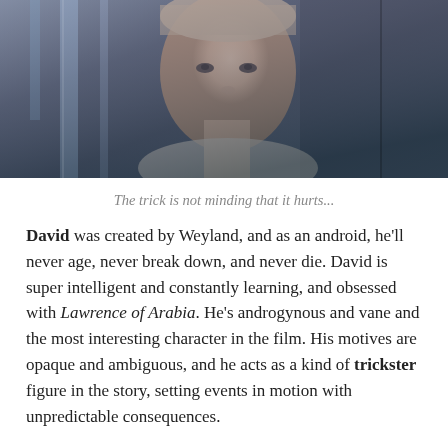[Figure (photo): Close-up photograph of a man (android character David) looking forward with a serious expression, in a dimly lit blue-toned environment. He has short blond hair and is wearing a light-colored shirt.]
The trick is not minding that it hurts...
David was created by Weyland, and as an android, he'll never age, never break down, and never die. David is super intelligent and constantly learning, and obsessed with Lawrence of Arabia. He's androgynous and vane and the most interesting character in the film. His motives are opaque and ambiguous, and he acts as a kind of trickster figure in the story, setting events in motion with unpredictable consequences.
In symbolic terms, David is a golem: a being that doesn't appear to have any freewill of its own and can only do its